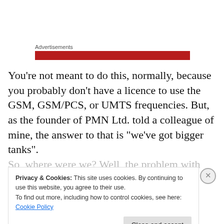Advertisements
You’re not meant to do this, normally, because you probably don’t have a licence to use the GSM, GSM/PCS, or UMTS frequencies. But, as the founder of PMN Ltd. told a colleague of mine, the answer to that is “we’ve got bigger tanks”.
So, where were we? Well, the problem with trying to do
Privacy & Cookies: This site uses cookies. By continuing to use this website, you agree to their use.
To find out more, including how to control cookies, see here: Cookie Policy
Close and accept